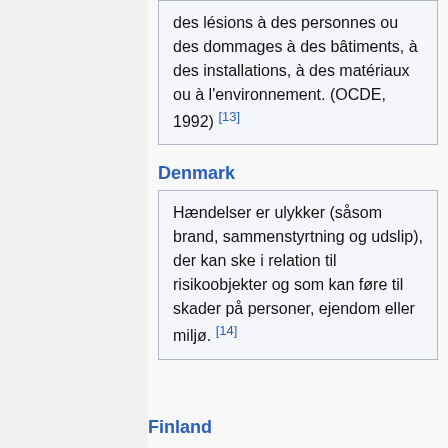des lésions à des personnes ou des dommages à des bâtiments, à des installations, à des matériaux ou à l'environnement. (OCDE, 1992) [13]
Denmark
Hændelser er ulykker (såsom brand, sammenstyrtning og udslip), der kan ske i relation til risikoobjekter og som kan føre til skader på personer, ejendom eller miljø. [14]
Finland